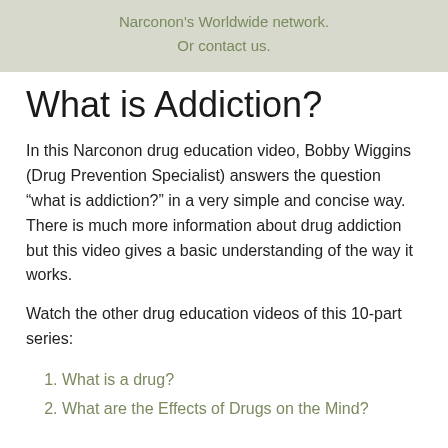Narconon's Worldwide network.
Or contact us.
What is Addiction?
In this Narconon drug education video, Bobby Wiggins (Drug Prevention Specialist) answers the question “what is addiction?” in a very simple and concise way. There is much more information about drug addiction but this video gives a basic understanding of the way it works.
Watch the other drug education videos of this 10-part series:
What is a drug?
What are the Effects of Drugs on the Mind?